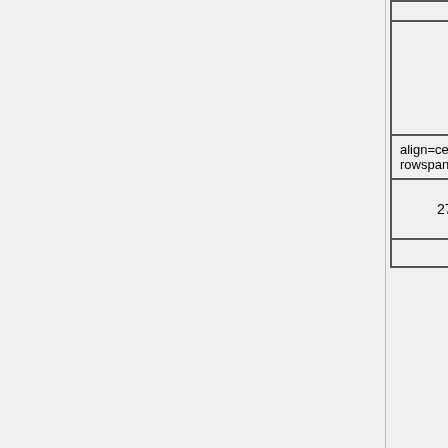| Week | Date | Topic/Reading |
| --- | --- | --- |
|  |  |  |
|  |  | Manipulators |
| 8 | 20 Feb (M) | President's Day Holiday |
| 8 | 21 Feb (Tu) | Manipulator Mechanisms and Lower Pair Joints |
| 8 | 22 Feb(W) | Denavit-Hartenberg Convention |
| align=center rowspan=4 | 9 | colspan=5 |
| 27 Feb (M) | Denavit-Hartenberg Convention (continued), Examples | MLS Ch 3; Rodriguez' Displacement Equation; |
|  | Product of... |  |